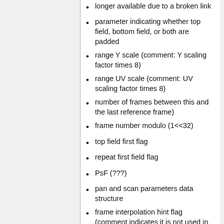longer available due to a broken link
parameter indicating whether top field, bottom field, or both are padded
range Y scale (comment: Y scaling factor times 8)
range UV scale (comment: UV scaling factor times 8)
number of frames between this and the last reference frame)
frame number modulo (1<<32)
top field first flag
repeat first field flag
PsF (???)
pan and scan parameters data structure
frame interpolation hint flag (comment indicates it is not used in decoding process)
chrominance plane sampling mode,